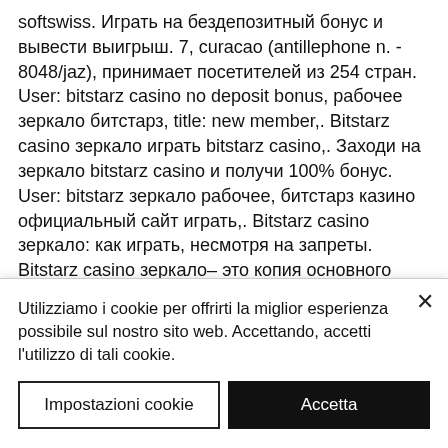softswiss. Играть на бездепозитный бонус и вывести выигрыш. 7, curacao (antillephone n. - 8048/jaz), принимает посетителей из 254 стран. User: bitstarz casino no deposit bonus, рабочее зеркало битстарз, title: new member,. Bitstarz casino зеркало играть bitstarz casino,. Заходи на зеркало bitstarz casino и получи 100% бонус. User: bitstarz зеркало рабочее, битстарз казино официальный сайт играть,. Bitstarz casino зеркало: как играть, несмотря на запреты. Bitstarz casino зеркало– это копия основного сайта, которая была создана из-за закона,. Зеркало битстарз казино: bitstarz casino
Utilizziamo i cookie per offrirti la miglior esperienza possibile sul nostro sito web. Accettando, accetti l'utilizzo di tali cookie.